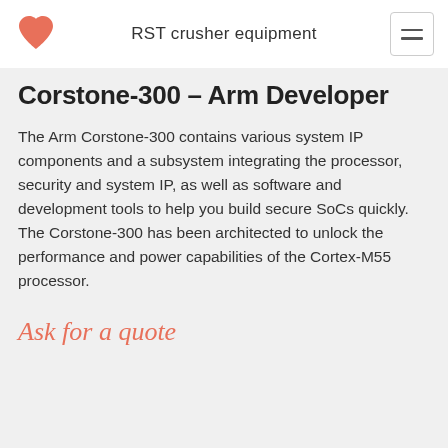RST crusher equipment
Corstone-300 – Arm Developer
The Arm Corstone-300 contains various system IP components and a subsystem integrating the processor, security and system IP, as well as software and development tools to help you build secure SoCs quickly. The Corstone-300 has been architected to unlock the performance and power capabilities of the Cortex-M55 processor.
Ask for a quote